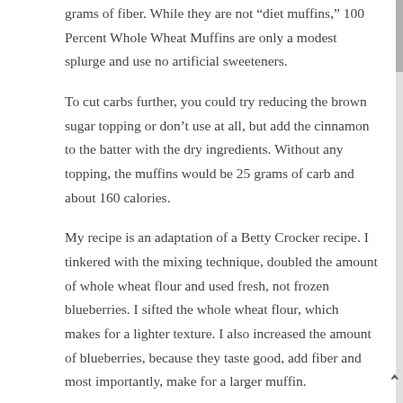grams of fiber. While they are not “diet muffins,” 100 Percent Whole Wheat Muffins are only a modest splurge and use no artificial sweeteners.
To cut carbs further, you could try reducing the brown sugar topping or don’t use at all, but add the cinnamon to the batter with the dry ingredients. Without any topping, the muffins would be 25 grams of carb and about 160 calories.
My recipe is an adaptation of a Betty Crocker recipe. I tinkered with the mixing technique, doubled the amount of whole wheat flour and used fresh, not frozen blueberries. I sifted the whole wheat flour, which makes for a lighter texture. I also increased the amount of blueberries, because they taste good, add fiber and most importantly, make for a larger muffin.
When it come to blueberry muffins, the bigger, the better.
100 Percent Whole Wheat Blueberry Muffins